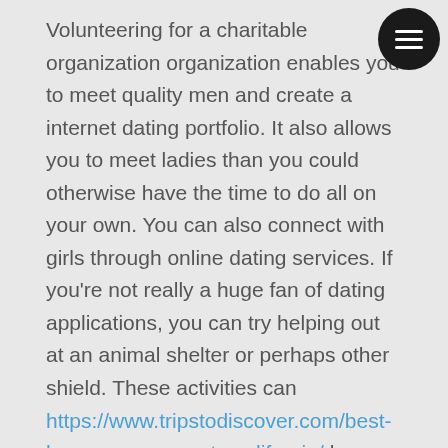Volunteering for a charitable organization organization enables you to meet quality men and create a internet dating portfolio. It also allows you to meet ladies than you could otherwise have the time to do all on your own. You can also connect with girls through online dating services. If you're not really a huge fan of dating applications, you can try helping out at an animal shelter or perhaps other shield. These activities can https://www.tripstodiscover.com/best-honeymoon-resorts-california/ be really rewarding.
Lastly, internet dating isn't really for everyone. It is actually more like accelerate dating. When you reading a profile, you learn about a person via a single talking. There's nothing wrong with this – really just that international wife online dating won't feel like a genuine